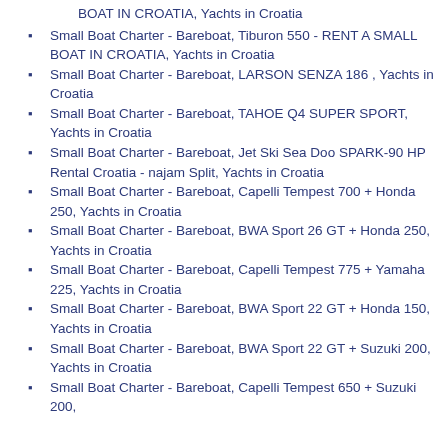BOAT IN CROATIA, Yachts in Croatia
Small Boat Charter - Bareboat, Tiburon 550 - RENT A SMALL BOAT IN CROATIA, Yachts in Croatia
Small Boat Charter - Bareboat, LARSON SENZA 186 , Yachts in Croatia
Small Boat Charter - Bareboat, TAHOE Q4 SUPER SPORT, Yachts in Croatia
Small Boat Charter - Bareboat, Jet Ski Sea Doo SPARK-90 HP Rental Croatia - najam Split, Yachts in Croatia
Small Boat Charter - Bareboat, Capelli Tempest 700 + Honda 250, Yachts in Croatia
Small Boat Charter - Bareboat, BWA Sport 26 GT + Honda 250, Yachts in Croatia
Small Boat Charter - Bareboat, Capelli Tempest 775 + Yamaha 225, Yachts in Croatia
Small Boat Charter - Bareboat, BWA Sport 22 GT + Honda 150, Yachts in Croatia
Small Boat Charter - Bareboat, BWA Sport 22 GT + Suzuki 200, Yachts in Croatia
Small Boat Charter - Bareboat, Capelli Tempest 650 + Suzuki 200,